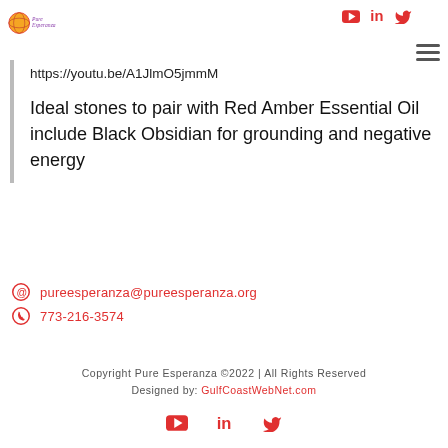PureEsperanza logo and navigation
https://youtu.be/A1JlmO5jmmM
Ideal stones to pair with Red Amber Essential Oil include Black Obsidian for grounding and negative energy
pureesperanza@pureesperanza.org
773-216-3574
Copyright Pure Esperanza ©2022 | All Rights Reserved
Designed by: GulfCoastWebNet.com